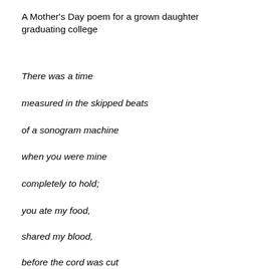A Mother's Day poem for a grown daughter graduating college
There was a time
measured in the skipped beats
of a sonogram machine
when you were mine
completely to hold;
you ate my food,
shared my blood,
before the cord was cut
and like a yellow balloon